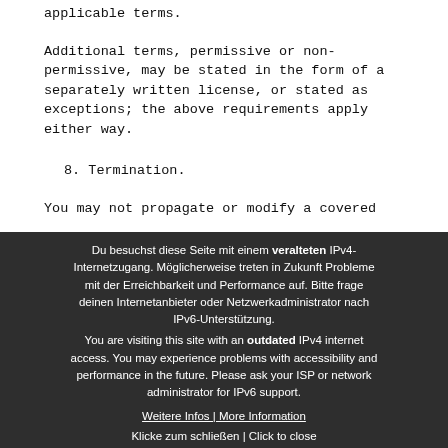applicable terms.
Additional terms, permissive or non-permissive, may be stated in the form of a separately written license, or stated as exceptions; the above requirements apply either way.
8. Termination.
You may not propagate or modify a covered
Du besuchst diese Seite mit einem veralteten IPv4-Internetzugang. Möglicherweise treten in Zukunft Probleme mit der Erreichbarkeit und Performance auf. Bitte frage deinen Internetanbieter oder Netzwerkadministrator nach IPv6-Unterstützung.
You are visiting this site with an outdated IPv4 internet access. You may experience problems with accessibility and performance in the future. Please ask your ISP or network administrator for IPv6 support.
Weitere Infos | More Information
Klicke zum schließen | Click to close